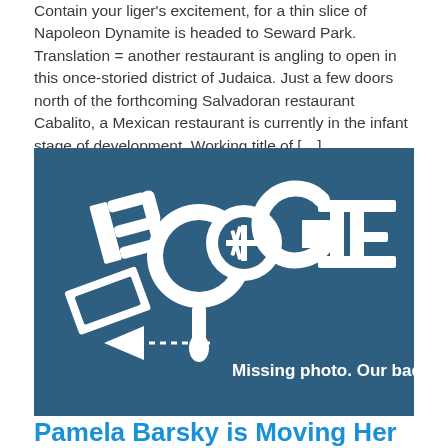Contain your liger's excitement, for a thin slice of Napoleon Dynamite is headed to Seward Park. Translation = another restaurant is angling to open in this once-storied district of Judaica. Just a few doors north of the forthcoming Salvadoran restaurant Cabalito, a Mexican restaurant is currently in the infant stage of development. Working title of […]
[Figure (illustration): Dark teal/blue background image with white graffiti-style 'BOOGIE' logo text and the message 'Missing photo. Our bad.' in white bold text at bottom right.]
Pamela Barsky is Moving Her